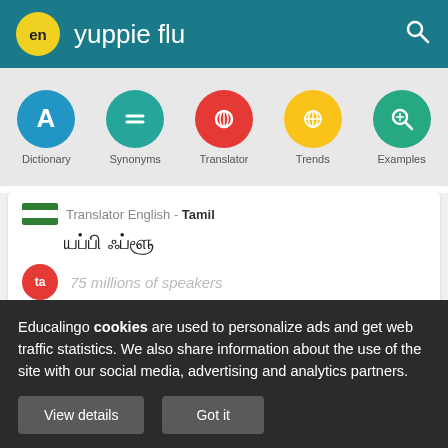en yuppie flu
[Figure (screenshot): Navigation bar with icons for Dictionary, Synonyms, Translator, Trends, Examples]
Translator English - Tamil
யப்பி ஃப்ளூ
75 millions of speakers
Translator English - Marathi
Educalingo cookies are used to personalize ads and get web traffic statistics. We also share information about the use of the site with our social media, advertising and analytics partners.